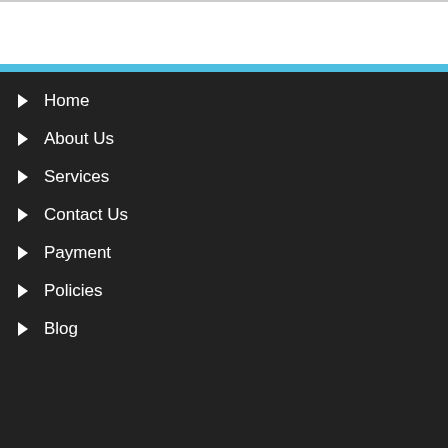Home
About Us
Services
Contact Us
Payment
Policies
Blog